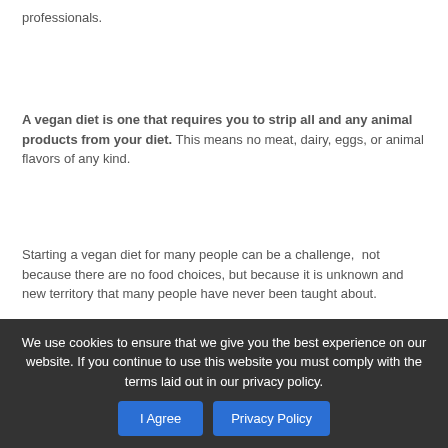professionals.
A vegan diet is one that requires you to strip all and any animal products from your diet. This means no meat, dairy, eggs, or animal flavors of any kind.
Starting a vegan diet for many people can be a challenge,  not because there are no food choices, but because it is unknown and new territory that many people have never been taught about.
If you've been wondering how you could get started with a vegan diet, here is an easy guide to help you
We use cookies to ensure that we give you the best experience on our website. If you continue to use this website you must comply with the terms laid out in our privacy policy.